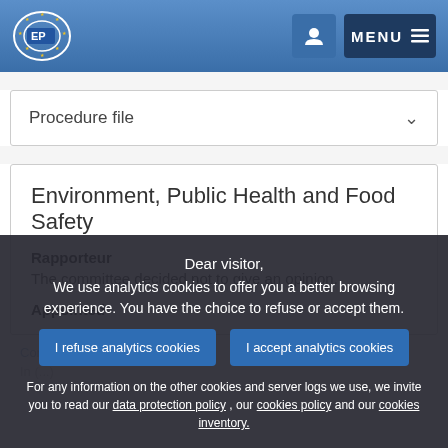European Parliament header with logo and MENU button
Procedure file
Environment, Public Health and Food Safety
Rapporteur
The committee decided not to give an opinion.
Appointed
Dear visitor,
We use analytics cookies to offer you a better browsing experience. You have the choice to refuse or accept them.
I refuse analytics cookies | I accept analytics cookies
For any information on the other cookies and server logs we use, we invite you to read our data protection policy , our cookies policy and our cookies inventory.